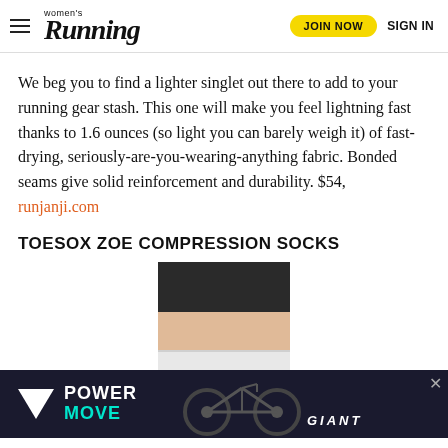women's Running — JOIN NOW  SIGN IN
We beg you to find a lighter singlet out there to add to your running gear stash. This one will make you feel lightning fast thanks to 1.6 ounces (so light you can barely weigh it) of fast-drying, seriously-are-you-wearing-anything fabric. Bonded seams give solid reinforcement and durability. $54, runjanji.com
TOESOX ZOE COMPRESSION SOCKS
[Figure (photo): Photo of a person's legs wearing black compression shorts and white compression socks, cropped from thigh to lower calf]
[Figure (photo): Advertisement banner for Giant bicycles with text POWER MOVE in white and teal on a dark background, with an inverted white triangle logo and bicycles in the background]